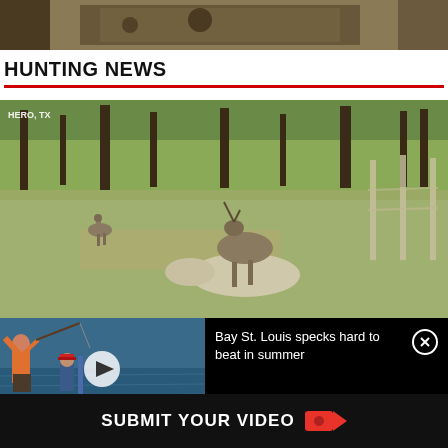[Figure (photo): Partial view of a hunting scene at top of page, showing outdoor ground and logs]
HUNTING NEWS
[Figure (photo): Deer in a field, one deer standing over another fallen deer, with fence posts in background. Location label: HERO, TX]
[Figure (screenshot): Embedded video player overlay showing a person fishing on a boat, with video play button. Caption reads: Bay St. Louis specks hard to beat in summer]
Bay St. Louis specks hard to beat in summer
SUBMIT YOUR VIDEO